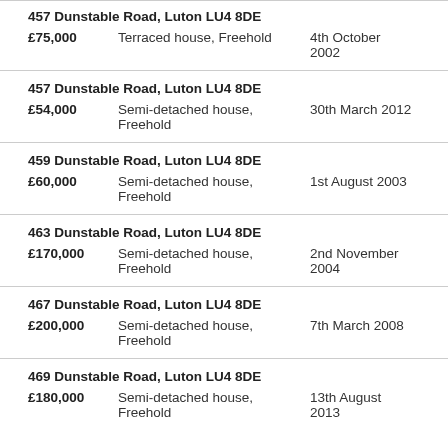457 Dunstable Road, Luton LU4 8DE | £75,000 | Terraced house, Freehold | 4th October 2002
457 Dunstable Road, Luton LU4 8DE | £54,000 | Semi-detached house, Freehold | 30th March 2012
459 Dunstable Road, Luton LU4 8DE | £60,000 | Semi-detached house, Freehold | 1st August 2003
463 Dunstable Road, Luton LU4 8DE | £170,000 | Semi-detached house, Freehold | 2nd November 2004
467 Dunstable Road, Luton LU4 8DE | £200,000 | Semi-detached house, Freehold | 7th March 2008
469 Dunstable Road, Luton LU4 8DE | £180,000 | Semi-detached house, Freehold | 13th August 2013